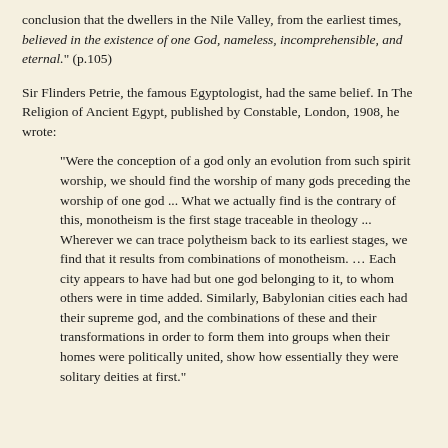conclusion that the dwellers in the Nile Valley, from the earliest times, believed in the existence of one God, nameless, incomprehensible, and eternal." (p.105)
Sir Flinders Petrie, the famous Egyptologist, had the same belief. In The Religion of Ancient Egypt, published by Constable, London, 1908, he wrote:
"Were the conception of a god only an evolution from such spirit worship, we should find the worship of many gods preceding the worship of one god ... What we actually find is the contrary of this, monotheism is the first stage traceable in theology ... Wherever we can trace polytheism back to its earliest stages, we find that it results from combinations of monotheism. … Each city appears to have had but one god belonging to it, to whom others were in time added. Similarly, Babylonian cities each had their supreme god, and the combinations of these and their transformations in order to form them into groups when their homes were politically united, show how essentially they were solitary deities at first."